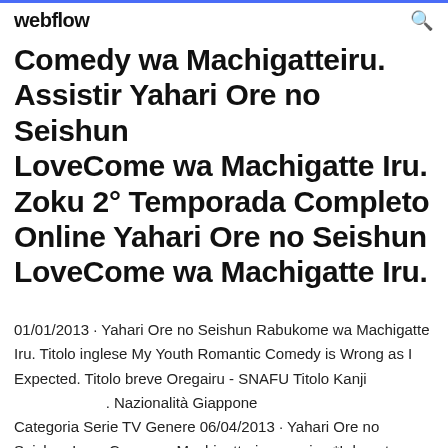webflow
Comedy wa Machigatteiru. Assistir Yahari Ore no Seishun LoveCome wa Machigatte Iru. Zoku 2° Temporada Completo Online Yahari Ore no Seishun LoveCome wa Machigatte Iru.
01/01/2013 · Yahari Ore no Seishun Rabukome wa Machigatte Iru. Titolo inglese My Youth Romantic Comedy is Wrong as I Expected. Titolo breve Oregairu - SNAFU Titolo Kanji . Nazionalità Giappone Categoria Serie TV Genere 06/04/2013 · Yahari Ore no Seishun Love Come wa Machigatteriru opening *I do not Yahari Ore no Seishun Love